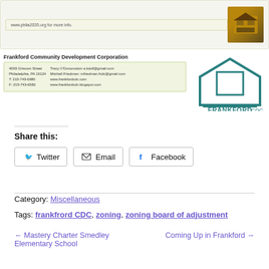[Figure (screenshot): Screenshot of a webpage showing Frankford CDC business card with contact info including address (4003 Griscom Street, Philadelphia, PA 19124), phone (T: 215-743-6980, F: 215-743-6582), emails, and website links, alongside an image on the right]
[Figure (logo): Frankford CDC logo — teal colored house/building icon with 'FRANKFORD CDC' text below]
Share this:
Twitter  Email  Facebook
Category: Miscellaneous
Tags: frankfrord CDC, zoning, zoning board of adjustment
← Mastery Charter Smedley Elementary School   Coming Up in Frankford →